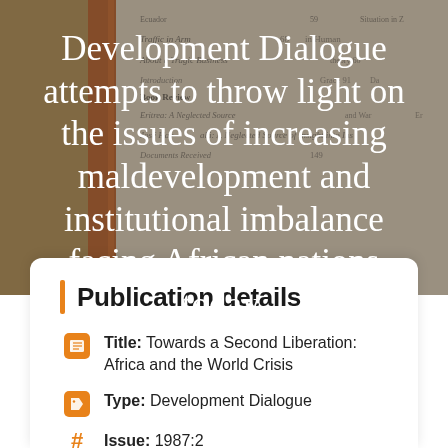[Figure (photo): Background photo of an open book showing a table of contents page, with warm brown/orange tones and a dark overlay, serving as backdrop for the hero text.]
Development Dialogue attempts to throw light on the issues of increasing maldevelopment and institutional imbalance facing African nations today.
Publication details
Title: Towards a Second Liberation: Africa and the World Crisis
Type: Development Dialogue
Issue: 1987:2